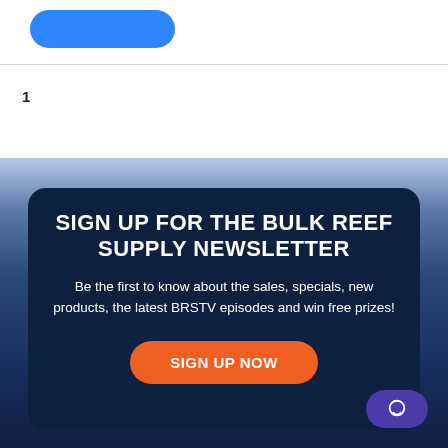[Figure (other): Blue rounded rectangle button at top left]
1
[Figure (illustration): Ocean/reef background image with dark blue water and coral]
SIGN UP FOR THE BULK REEF SUPPLY NEWSLETTER
Be the first to know about the sales, specials, new products, the latest BRSTV episodes and win free prizes!
[Figure (other): Orange rounded SIGN UP NOW button]
[Figure (other): Purple chat bubble icon button at bottom right]